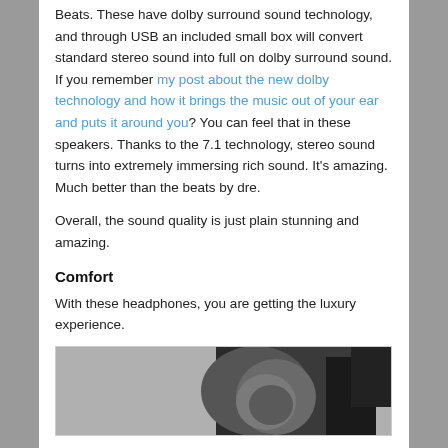Beats. These have dolby surround sound technology, and through USB an included small box will convert standard stereo sound into full on dolby surround sound. If you remember my post about the new dolby technology and how it brings the music out of your ear and puts it around you? You can feel that in these speakers. Thanks to the 7.1 technology, stereo sound turns into extremely immersing rich sound. It's amazing. Much better than the beats by dre.
Overall, the sound quality is just plain stunning and amazing.
Comfort
With these headphones, you are getting the luxury experience.
[Figure (photo): Black and white photo of over-ear headphones, showing the ear cup and headband in close-up detail.]